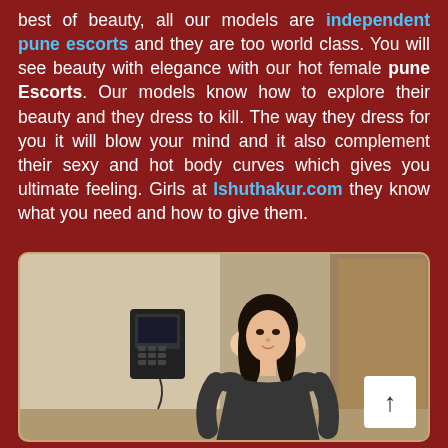best of beauty, all our models are independent pune escorts and they are too world class. You will see beauty with elegance with our hot female pune Escorts. Our models know how to explore their beauty and they dress to kill. The way they dress for you it will blow your mind and it also complement their sexy and hot body curves which gives you ultimate feeling. Girls at Ishuthakur.com they know what you need and how to give them.
[Figure (photo): A young woman with long dark hair wearing a dark top, standing indoors near a telephone on the wall.]